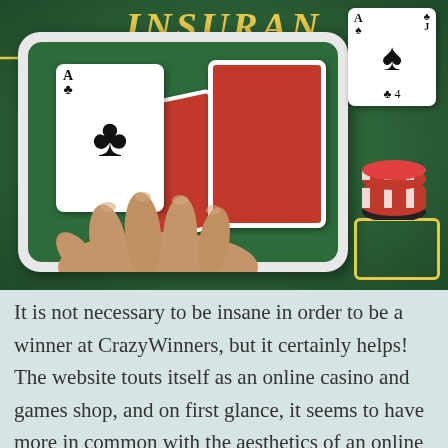[Figure (photo): A blackjack/casino table with green felt background showing the word INSURANCE in gold italic letters at the top. A tablet device displays playing cards including the Ace of Clubs. Additional cards (Ace of Spades) and a stack of red and white casino chips with a gold card outline are visible on the felt. A hand is holding the cards inside the tablet frame.]
It is not necessary to be insane in order to be a winner at CrazyWinners, but it certainly helps! The website touts itself as an online casino and games shop, and on first glance, it seems to have more in common with the aesthetics of an online retailer than it does with a virtual